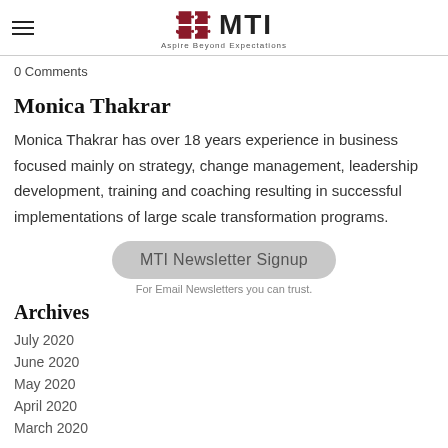MTI — Aspire Beyond Expectations
0 Comments
Monica Thakrar
Monica Thakrar has over 18 years experience in business focused mainly on strategy, change management, leadership development, training and coaching resulting in successful implementations of large scale transformation programs.
[Figure (other): MTI Newsletter Signup button with text 'For Email Newsletters you can trust.']
Archives
July 2020
June 2020
May 2020
April 2020
March 2020